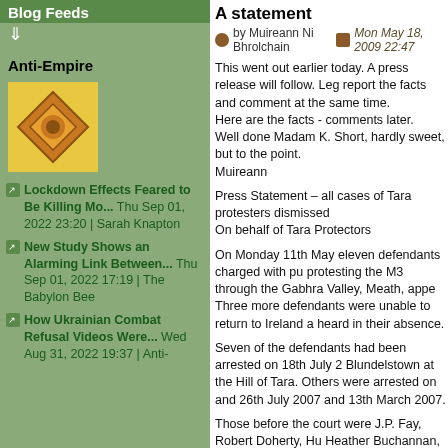Blog Feeds
Anti-Empire
[Figure (illustration): Yellow/orange diamond logo on square background]
Lockdown Effects Feared to Be Killing Mo... Thu Sep 01, 2022 23:20 | Sarah Knapton
New Study Shows an Alarming Link Between... Thu Sep 01, 2022 17:19 | The Babylon Bee
How Ukrainian Combat Refusal Videos Were... Wed Aug 31, 2022 19:37 | Anti-
A statement
by Muireann Ni Bhrolchain
Mon May 18, 2009 22:47
This went out earlier today. A press release will follow. Leg report the facts and comment at the same time.
Here are the facts - comments later.
Well done Madam K. Short, hardly sweet, but to the point.
Muireann
Press Statement – all cases of Tara protesters dismissed
On behalf of Tara Protectors
On Monday 11th May eleven defendants charged with pu protesting the M3 through the Gabhra Valley, Meath, appe Three more defendants were unable to return to Ireland a heard in their absence.
Seven of the defendants had been arrested on 18th July 2 Blundelstown at the Hill of Tara. Others were arrested on and 26th July 2007 and 13th March 2007.
Those before the court were J.P. Fay, Robert Doherty, Hu Heather Buchannan, Kieran O'Carroll, Carmel Diviney, Ar Muireann Ni Bhrolcháin, Kitty Kavanagh, Neil Morgan, Rik Maloney and Daniel Moore. Most of the defendants were Finucane solicitor and barristers John Moher and Imelda represented by Eoin Foley of Cahir O Higgins.
The presiding judge, John Coughlan, heard the cases ove Monday 11th and Wednesday 13th May. He dismissed all